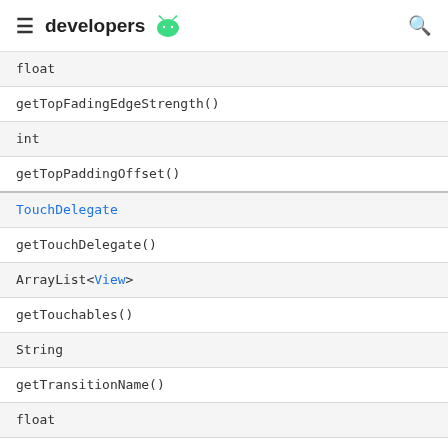developers (android logo)
| float |
| getTopFadingEdgeStrength() |
| int |
| getTopPaddingOffset() |
| TouchDelegate |
| getTouchDelegate() |
| ArrayList<View> |
| getTouchables() |
| String |
| getTransitionName() |
| float |
| getTranslationX() |
| float |